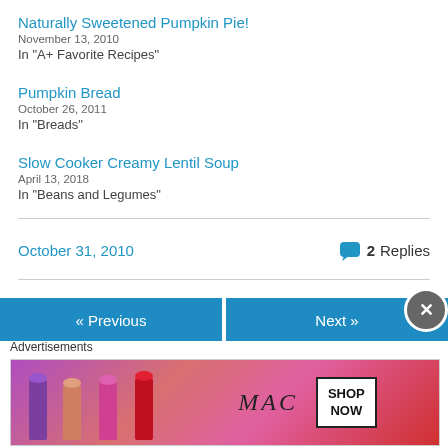Naturally Sweetened Pumpkin Pie!
November 13, 2010
In "A+ Favorite Recipes"
Pumpkin Bread
October 26, 2011
In "Breads"
Slow Cooker Creamy Lentil Soup
April 13, 2018
In "Beans and Legumes"
October 31, 2010    💬 2 Replies
[Figure (screenshot): Navigation buttons: « Previous and Next »]
Advertisements
[Figure (photo): MAC cosmetics advertisement showing lipsticks with SHOP NOW button]